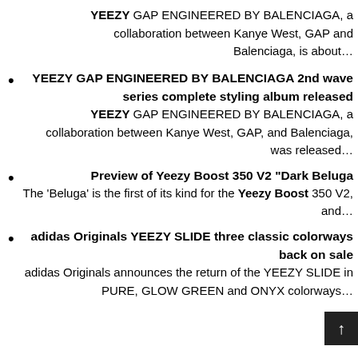YEEZY GAP ENGINEERED BY BALENCIAGA, a collaboration between Kanye West, GAP and Balenciaga, is about…
YEEZY GAP ENGINEERED BY BALENCIAGA 2nd wave series complete styling album released
YEEZY GAP ENGINEERED BY BALENCIAGA, a collaboration between Kanye West, GAP, and Balenciaga, was released…
Preview of Yeezy Boost 350 V2 "Dark Beluga
The 'Beluga' is the first of its kind for the Yeezy Boost 350 V2, and…
adidas Originals YEEZY SLIDE three classic colorways back on sale
adidas Originals announces the return of the YEEZY SLIDE in PURE, GLOW GREEN and ONYX colorways…